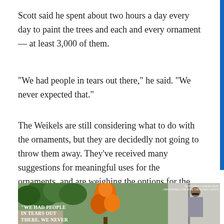Scott said he spent about two hours a day every day to paint the trees and each and every ornament — at least 3,000 of them.
“We had people in tears out there,” he said. “We never expected that.”
The Weikels are still considering what to do with the ornaments, but they are decidedly not going to throw them away. They’ve received many suggestions for meaningful uses for the ornaments, and are weighing the options for the greatest impact.
[Figure (photo): Photo of an orange painted Christmas tree outdoors with green trees in background, and a woman with sunglasses standing to the right. Overlay text reads: 'We had people in tears out there. We never expected' (partially visible). Watermark text in top right reads: 'Scott Weikel contributed photo / BROOKFIELD CREATIVE CHRISTMAS LIGHTS']